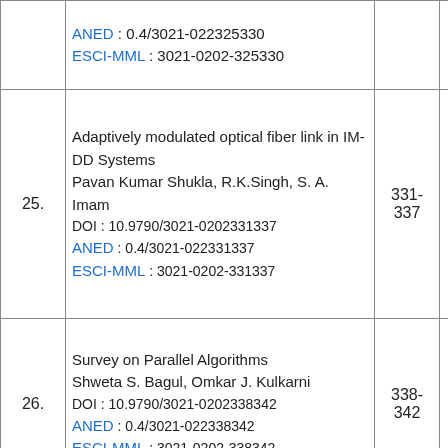| # | Article Info | Pages | Link |
| --- | --- | --- | --- |
|  | ANED : 0.4/3021-022325330
ESCI-MML : 3021-0202-325330 |  |  |
| 25. | Adaptively modulated optical fiber link in IM-DD Systems
Pavan Kumar Shukla, R.K.Singh, S. A. Imam
DOI : 10.9790/3021-0202331337
ANED : 0.4/3021-022331337
ESCI-MML : 3021-0202-331337 | 331-337 | [PDF icon] |
| 26. | Survey on Parallel Algorithms
Shweta S. Bagul, Omkar J. Kulkarni
DOI : 10.9790/3021-0202338342
ANED : 0.4/3021-022338342
ESCI-MML : 3021-0202-338342 | 338-342 | [PDF icon] |
|  | Modeling and optimization of process plans using Petri nets and INA
B.V. Sudheer Kumar, C.S.P. Rao | 342- | [PDF/Arrow icon] |